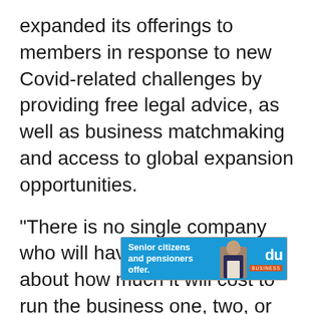expanded its offerings to members in response to new Covid-related challenges by providing free legal advice, as well as business matchmaking and access to global expansion opportunities.
“There is no single company who will have all the answers about how much it will cost to run the business one, two, or three years down the line. This is usually the knowledge, the insight that you get from peers, which is why we have built Dubai Startup Hub as a platform where various stakeholders within the entrepreneurial ecosy[...] edge and c[...]
[Figure (other): Advertisement banner with blue background. Text reads 'Senior citizens and pensioners offer.' with a du BUSINESS logo and a person's photo on the right side.]